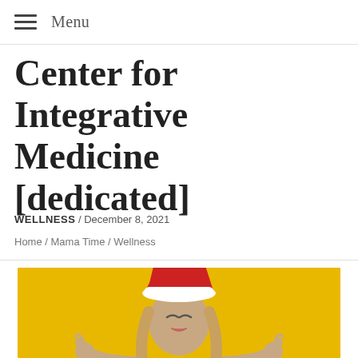Menu
Center for Integrative Medicine [dedicated]
WELLNESS / December 8, 2021
Home / Mama Time / Wellness
[Figure (photo): Woman with eyes closed wearing a Santa hat doing a meditation OK gesture pose against a yellow background]